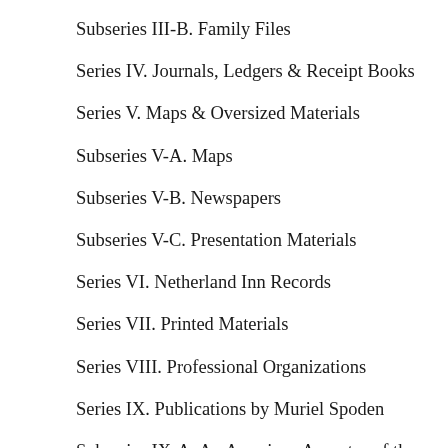Subseries III-B. Family Files
Series IV. Journals, Ledgers & Receipt Books
Series V. Maps & Oversized Materials
Subseries V-A. Maps
Subseries V-B. Newspapers
Subseries V-C. Presentation Materials
Series VI. Netherland Inn Records
Series VII. Printed Materials
Series VIII. Professional Organizations
Series IX. Publications by Muriel Spoden
Subseries IX-A. An American Ancestry of the Clark-